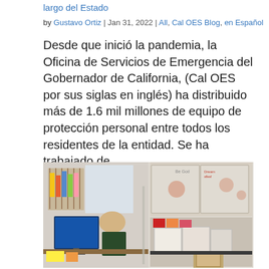largo del Estado
by Gustavo Ortiz | Jan 31, 2022 | All, Cal OES Blog, en Español
Desde que inició la pandemia, la Oficina de Servicios de Emergencia del Gobernador de California, (Cal OES por sus siglas en inglés) ha distribuido más de 1.6 mil millones de equipo de protección personal entre todos los residentes de la entidad. Se ha trabajado de…
[Figure (photo): Office scene with a woman with blonde hair sitting at a desk with computer monitors, filing cabinets, shelves with colorful folders, and storage boxes visible in the background.]